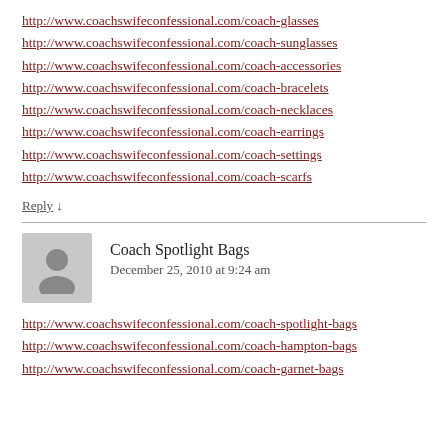http://www.coachswifeconfessional.com/coach-glasses
http://www.coachswifeconfessional.com/coach-sunglasses
http://www.coachswifeconfessional.com/coach-accessories
http://www.coachswifeconfessional.com/coach-bracelets
http://www.coachswifeconfessional.com/coach-necklaces
http://www.coachswifeconfessional.com/coach-earrings
http://www.coachswifeconfessional.com/coach-settings
http://www.coachswifeconfessional.com/coach-scarfs
Reply ↓
Coach Spotlight Bags
December 25, 2010 at 9:24 am
http://www.coachswifeconfessional.com/coach-spotlight-bags
http://www.coachswifeconfessional.com/coach-hampton-bags
http://www.coachswifeconfessional.com/coach-garnet-bags